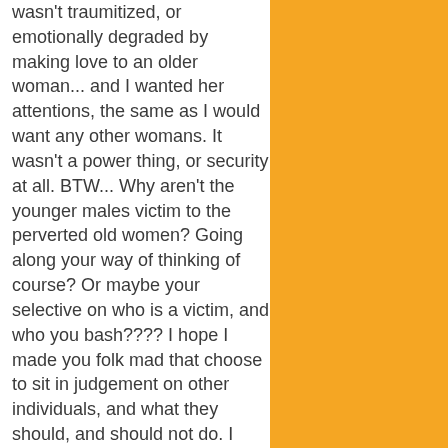wasn't traumitized, or emotionally degraded by making love to an older woman... and I wanted her attentions, the same as I would want any other womans. It wasn't a power thing, or security at all. BTW... Why aren't the younger males victim to the perverted old women? Going along your way of thinking of course? Or maybe your selective on who is a victim, and who you bash???? I hope I made you folk mad that choose to sit in judgement on other individuals, and what they should, and should not do. I don't want, or need people like you liking me, or as